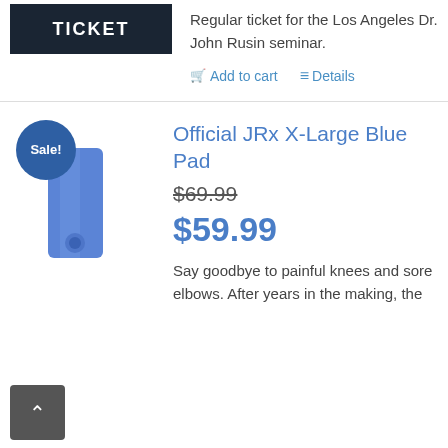[Figure (illustration): Ticket product image — dark navy background with 'TICKET' text in white bold letters]
Regular ticket for the Los Angeles Dr. John Rusin seminar.
Add to cart   Details
[Figure (illustration): Blue pad product image with Sale! badge circle in dark blue, and a blue rectangular pad graphic]
Official JRx X-Large Blue Pad
$69.99 (strikethrough original price)
$59.99 (sale price)
Say goodbye to painful knees and sore elbows. After years in the making, the